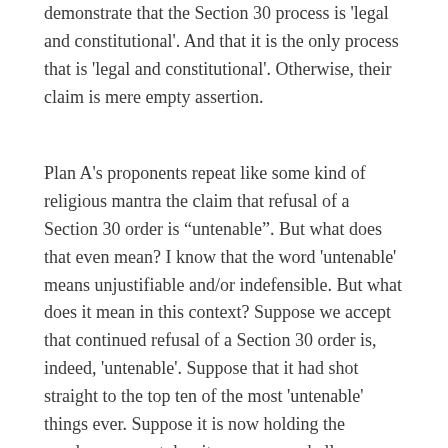demonstrate that the Section 30 process is 'legal and constitutional'. And that it is the only process that is 'legal and constitutional'. Otherwise, their claim is mere empty assertion.
Plan A's proponents repeat like some kind of religious mantra the claim that refusal of a Section 30 order is “untenable”. But what does that even mean? I know that the word 'untenable' means unjustifiable and/or indefensible. But what does it mean in this context? Suppose we accept that continued refusal of a Section 30 order is, indeed, 'untenable'. Suppose that it had shot straight to the top ten of the most 'untenable' things ever. Suppose it is now holding the number one spot despite numerous challenges from accomplished exponents of the unjustifiable and indefensible. Donald Trump. Contact the